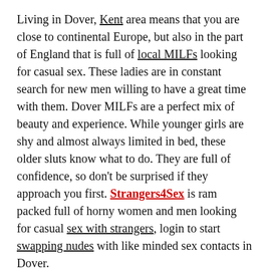Living in Dover, Kent area means that you are close to continental Europe, but also in the part of England that is full of local MILFs looking for casual sex. These ladies are in constant search for new men willing to have a great time with them. Dover MILFs are a perfect mix of beauty and experience. While younger girls are shy and almost always limited in bed, these older sluts know what to do. They are full of confidence, so don't be surprised if they approach you first. Strangers4Sex is ram packed full of horny women and men looking for casual sex with strangers, login to start swapping nudes with like minded sex contacts in Dover.
Dover MILFS won't be afraid to tell you that she likes you and that she would love to see what you got. Somebody would think that she has no shame, but she doesn't care. She is sick of the same old dicks, and she needs Continue reading →